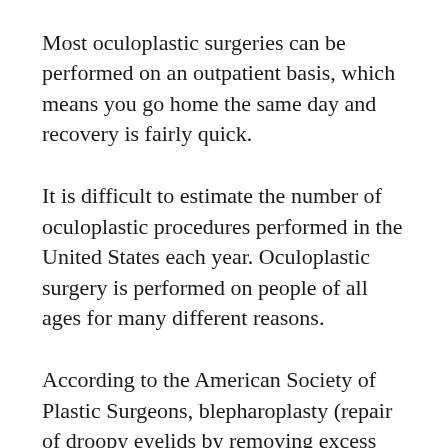Most oculoplastic surgeries can be performed on an outpatient basis, which means you go home the same day and recovery is fairly quick.
It is difficult to estimate the number of oculoplastic procedures performed in the United States each year. Oculoplastic surgery is performed on people of all ages for many different reasons.
According to the American Society of Plastic Surgeons, blepharoplasty (repair of droopy eyelids by removing excess skin, muscle, and fat) is one of the top five cosmetic plastic procedures performed. In 2012, over 200,000 blepharoplasties were performed in the United